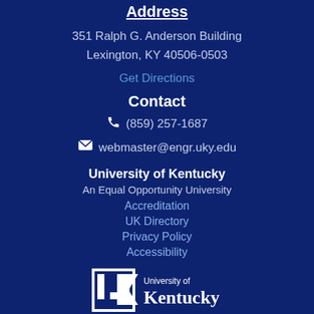Address
351 Ralph G. Anderson Building
Lexington, KY 40506-0503
Get Directions
Contact
(859) 257-1687
webmaster@engr.uky.edu
University of Kentucky
An Equal Opportunity University
Accreditation
UK Directory
Privacy Policy
Accessibility
[Figure (logo): University of Kentucky logo with UK monogram and text 'University of Kentucky']